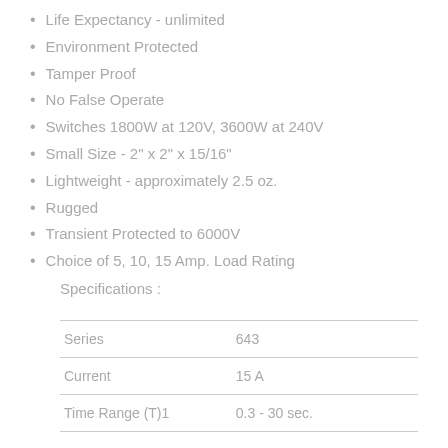Life Expectancy - unlimited
Environment Protected
Tamper Proof
No False Operate
Switches 1800W at 120V, 3600W at 240V
Small Size - 2" x 2" x 15/16"
Lightweight - approximately 2.5 oz.
Rugged
Transient Protected to 6000V
Choice of 5, 10, 15 Amp. Load Rating
Specifications :
|  |  |
| --- | --- |
| Series | 643 |
| Current | 15 A |
| Time Range (T)1 | 0.3 - 30 sec. |